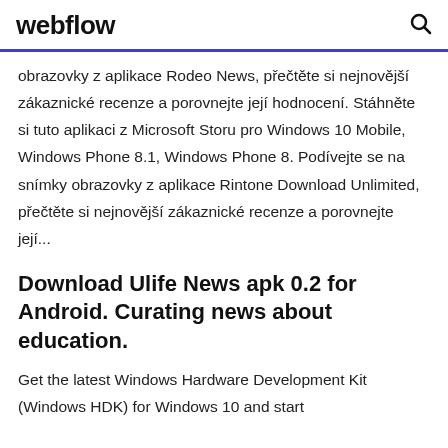webflow
obrazovky z aplikace Rodeo News, přečtěte si nejnovější zákaznické recenze a porovnejte její hodnocení. Stáhněte si tuto aplikaci z Microsoft Storu pro Windows 10 Mobile, Windows Phone 8.1, Windows Phone 8. Podívejte se na snímky obrazovky z aplikace Rintone Download Unlimited, přečtěte si nejnovější zákaznické recenze a porovnejte její...
Download Ulife News apk 0.2 for Android. Curating news about education.
Get the latest Windows Hardware Development Kit (Windows HDK) for Windows 10 and start